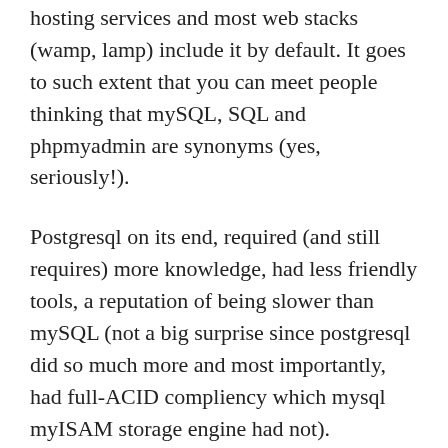hosting services and most web stacks (wamp, lamp) include it by default. It goes to such extent that you can meet people thinking that mySQL, SQL and phpmyadmin are synonyms (yes, seriously!).
Postgresql on its end, required (and still requires) more knowledge, had less friendly tools, a reputation of being slower than mySQL (not a big surprise since postgresql did so much more and most importantly, had full-ACID compliency which mysql myISAM storage engine had not).
Also there seems to have been a misunderstanding with mysql license that led many people to think it's free